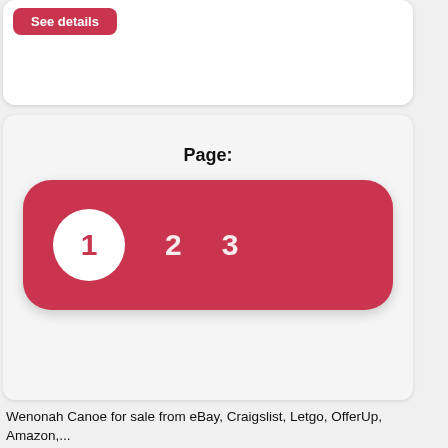[Figure (screenshot): Top card with a red 'See details' button on white rounded card background]
[Figure (screenshot): Pagination card showing 'Page:' label and a crimson rounded rectangle with page numbers 1 (highlighted in white circle), 2, and 3]
Wenonah Canoe for sale from eBay, Craigslist, Letgo, OfferUp, Amazon,...
Page updated : 24 Aug 2022, 03:59
45 ads • Refresh